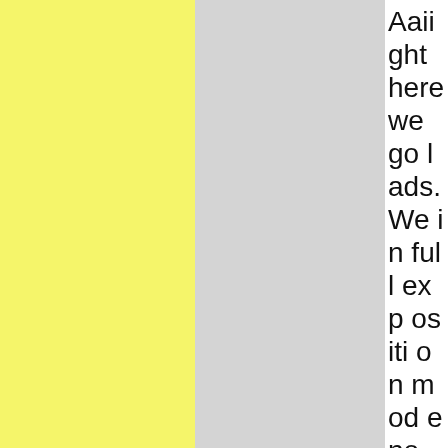Aaiight here we go lads. We in full exposition mode now: not only do I have to guessти